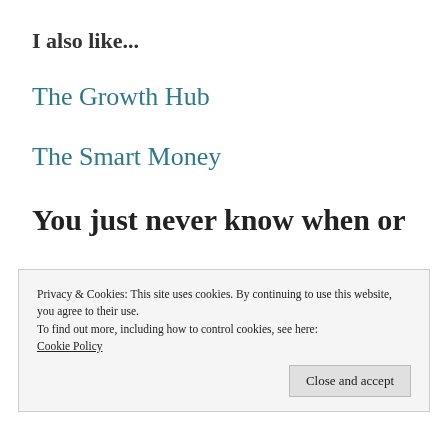I also like...
The Growth Hub
The Smart Money
You just never know when or
Privacy & Cookies: This site uses cookies. By continuing to use this website, you agree to their use.
To find out more, including how to control cookies, see here:
Cookie Policy
Close and accept